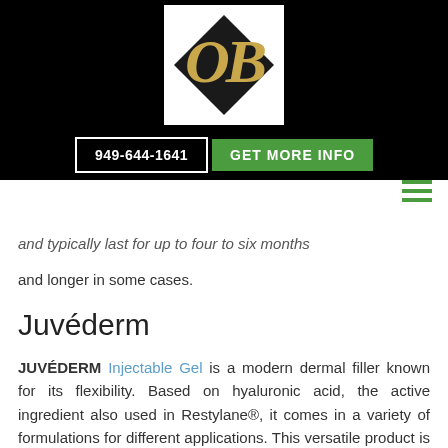[Figure (logo): Ornate gold script 'OB' monogram on black diamond shape, white square logo background]
949-644-1641  GET MORE INFO
and typically last for up to four to six months and longer in some cases.
Juvéderm
JUVÉDERM Injectable Gel is a modern dermal filler known for its flexibility. Based on hyaluronic acid, the active ingredient also used in Restylane®, it comes in a variety of formulations for different applications. This versatile product is an effective choice for filling in small, vertical lines around the lips, as well as deeper nasolabial folds. It can also be used for a variety of other features...